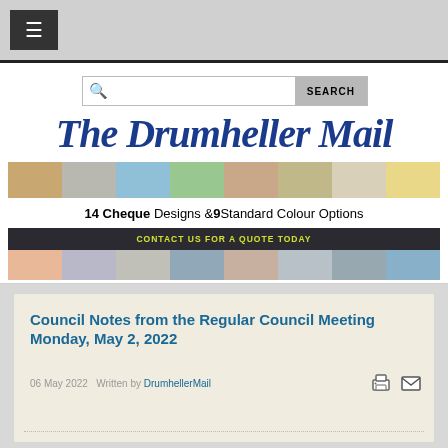≡
[Figure (logo): The Drumheller Mail masthead logo in gothic/blackletter blue font]
[Figure (infographic): Advertisement banner: 14 Cheque Designs & 9 Standard Colour Options - CONTACT US FOR A QUOTE TODAY, with coloured cheque design swatches]
Council Notes from the Regular Council Meeting Monday, May 2, 2022
06 May 2022  Written by DrumhellerMail